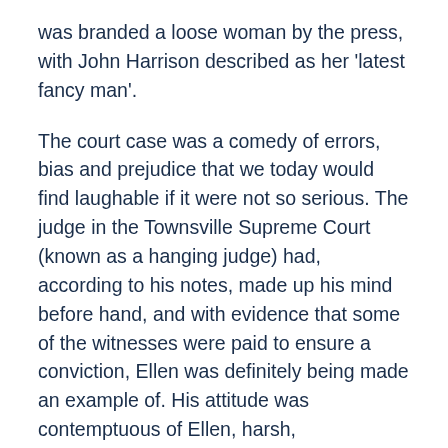was branded a loose woman by the press, with John Harrison described as her 'latest fancy man'.
The court case was a comedy of errors, bias and prejudice that we today would find laughable if it were not so serious. The judge in the Townsville Supreme Court (known as a hanging judge) had, according to his notes, made up his mind before hand, and with evidence that some of the witnesses were paid to ensure a conviction, Ellen was definitely being made an example of. His attitude was contemptuous of Ellen, harsh, uncompromising in the extreme and clearly prejudiced.
During the trial, William Thompson was portrayed as helpless and vulnerable which was backed up by several witnesses who took great pains to explain